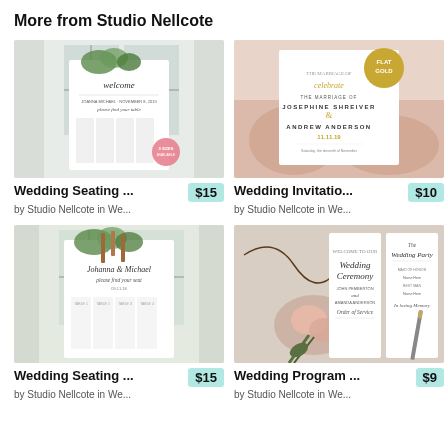More from Studio Nellcote
[Figure (photo): Wedding seating chart product image – white sign with greenery and script text]
[Figure (photo): Wedding invitation product image held in hands with gold 'Flat Gold' badge]
Wedding Seating ...
$15
by Studio Nellcote in We...
Wedding Invitatio...
$10
by Studio Nellcote in We...
[Figure (photo): Wedding seating chart product image – white sign with greenery and script names]
[Figure (photo): Wedding program product image with roses and two-panel program card]
Wedding Seating ...
$15
by Studio Nellcote in We...
Wedding Program ...
$9
by Studio Nellcote in We...